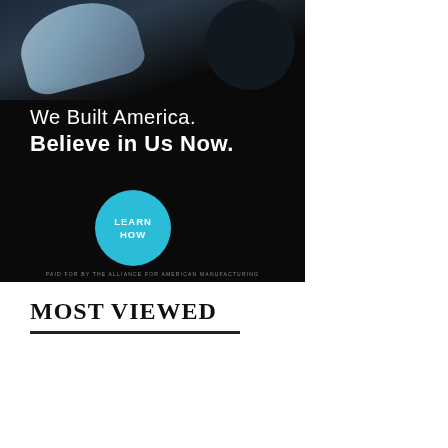[Figure (photo): Advertisement banner with dark background showing industrial/manufacturing equipment at top, white text reading 'We Built America. Believe in Us Now.' with a teal circular button saying 'LEARN HOW'. Disclaimer at bottom: 'PAID FOR BY THE ALLIANCE FOR AMERICAN MANUFACTURING']
MOST VIEWED
[Figure (photo): Photograph of tropical palm trees against a bright blue sky, partially cropped at the bottom of the page. A small dark badge labeled 'outdoor' is visible in the upper right area.]